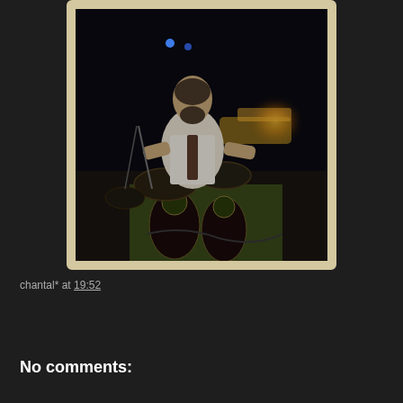[Figure (photo): A dark, blurry concert photo in a polaroid-style frame with cream/gold border. A bearded man in a white shirt plays guitar or keyboard on stage, surrounded by equipment and warm glowing lights. Two small blue lights are visible in the upper background.]
chantal* at 19:52
Share
No comments: